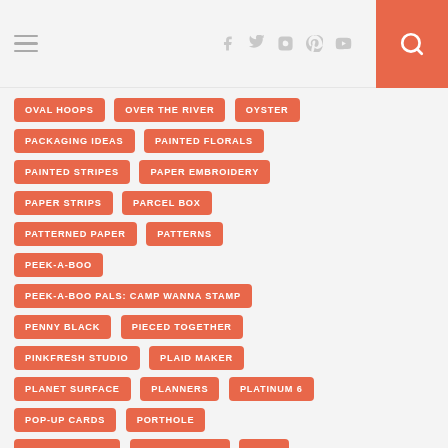Navigation header with hamburger menu, social icons (Facebook, Twitter, Instagram, Pinterest, YouTube), and search button
OVAL HOOPS
OVER THE RIVER
OYSTER
PACKAGING IDEAS
PAINTED FLORALS
PAINTED STRIPES
PAPER EMBROIDERY
PAPER STRIPS
PARCEL BOX
PATTERNED PAPER
PATTERNS
PEEK-A-BOO
PEEK-A-BOO PALS: CAMP WANNA STAMP
PENNY BLACK
PIECED TOGETHER
PINKFRESH STUDIO
PLAID MAKER
PLANET SURFACE
PLANNERS
PLATINUM 6
POP-UP CARDS
PORTHOLE
POSITIVE VIBES
POWER POPPY
PREP